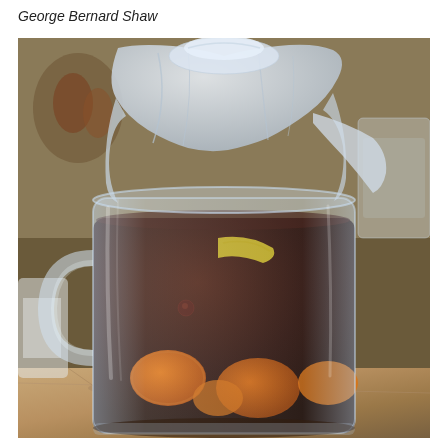George Bernard Shaw
[Figure (photo): A large clear glass pitcher or jar with a dark reddish-brown liquid inside, containing visible fruit pieces (oranges, and other fruits). The jar is covered with a white plastic bag or wrap on top, loosely draped. The background shows a kitchen counter with granite surface and various items. The scene suggests a home-made infused drink or kombucha.]